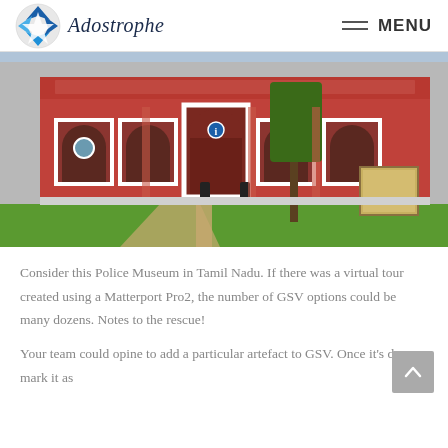Adostrophe — MENU
[Figure (photo): Exterior of Police Museum in Tamil Nadu — a red colonial-style building with white arched windows, green lawn in foreground, tree in center, sign board to right]
Consider this Police Museum in Tamil Nadu. If there was a virtual tour created using a Matterport Pro2, the number of GSV options could be many dozens. Notes to the rescue!
Your team could opine to add a particular artefact to GSV. Once it's done, mark it as